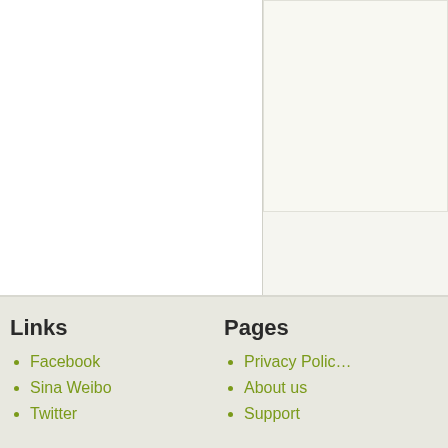Links
Facebook
Sina Weibo
Twitter
Pages
Privacy Policy
About us
Support